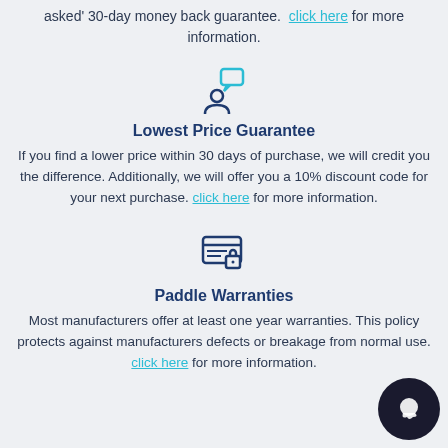asked' 30-day money back guarantee. click here for more information.
[Figure (illustration): Person with speech bubble icon in blue outline style]
Lowest Price Guarantee
If you find a lower price within 30 days of purchase, we will credit you the difference. Additionally, we will offer you a 10% discount code for your next purchase. click here for more information.
[Figure (illustration): Secure payment / credit card with lock icon in dark blue outline style]
Paddle Warranties
Most manufacturers offer at least one year warranties. This policy protects against manufacturers defects or breakage from normal use. click here for more information.